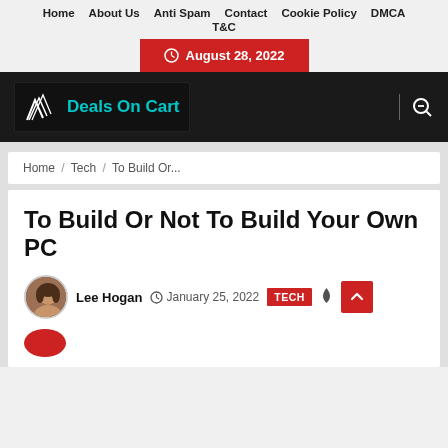Home  About Us  Anti Spam  Contact  Cookie Policy  DMCA  T&C
August 28, 2022
[Figure (logo): Deals On Cart logo with white wing feathers on black background and teal text]
Home / Tech / To Build Or...
To Build Or Not To Build Your Own PC
Lee Hogan  January 25, 2022  TECH